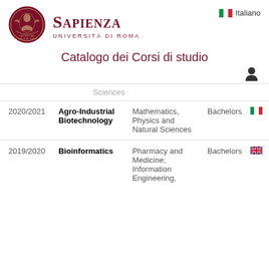[Figure (logo): Sapienza Università di Roma circular seal/crest in dark red]
Sapienza Università di Roma
Italiano
Catalogo dei Corsi di studio
Sciences (partial row, cut off at top)
| Year | Course | Faculty | Level |  |
| --- | --- | --- | --- | --- |
| 2020/2021 | Agro-Industrial Biotechnology | Mathematics, Physics and Natural Sciences | Bachelors | 🇮🇹 |
| 2019/2020 | Bioinformatics | Pharmacy and Medicine; Information Engineering, | Bachelors | 🇬🇧 |